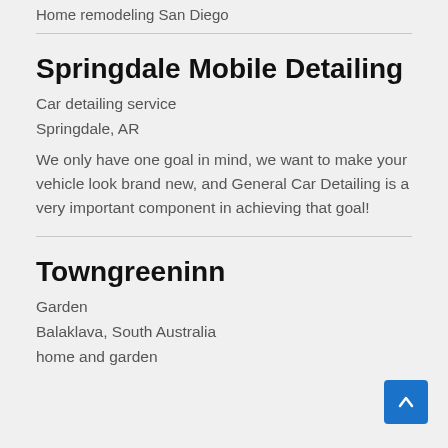Home remodeling San Diego
Springdale Mobile Detailing
Car detailing service
Springdale, AR
We only have one goal in mind, we want to make your vehicle look brand new, and General Car Detailing is a very important component in achieving that goal!
Towngreeninn
Garden
Balaklava, South Australia
home and garden